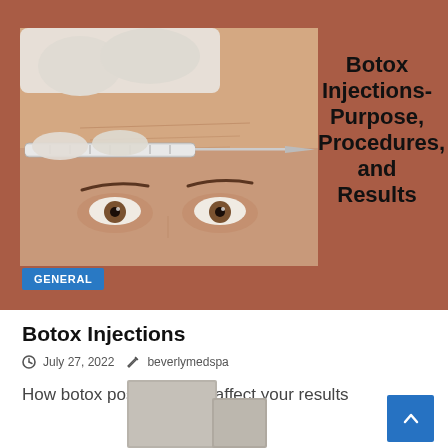[Figure (photo): Close-up photo of a woman's forehead receiving a botox injection from a gloved hand holding a syringe. The woman has brown eyes and visible forehead wrinkles.]
Botox Injections- Purpose, Procedures, and Results
GENERAL
Botox Injections
July 27, 2022  beverlymedspa
How botox post-care can affect your results
[Figure (photo): Partial view of botox-related product containers in grey/beige tones at bottom of page.]